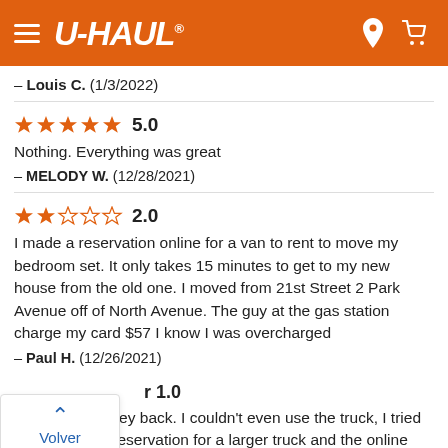U-HAUL
– Louis C.  (1/3/2022)
★★★★★ 5.0
Nothing. Everything was great
– MELODY W.  (12/28/2021)
★★☆☆☆ 2.0
I made a reservation online for a van to rent to move my bedroom set. It only takes 15 minutes to get to my new house from the old one. I moved from 21st Street 2 Park Avenue off of North Avenue. The guy at the gas station charge my card $57 I know I was overcharged
– Paul H.  (12/26/2021)
Volver arriba
1.0
...want my money back. I couldn't even use the truck, I tried to change the reservation for a larger truck and the online platform was...